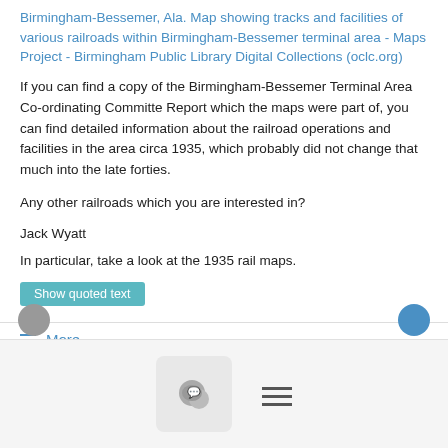Birmingham-Bessemer, Ala. Map showing tracks and facilities of various railroads within Birmingham-Bessemer terminal area - Maps Project - Birmingham Public Library Digital Collections (oclc.org)
If you can find a copy of the Birmingham-Bessemer Terminal Area Co-ordinating Committe Report which the maps were part of, you can find detailed information about the railroad operations and facilities in the area circa 1935, which probably did not change that much into the late forties.
Any other railroads which you are interested in?
Jack Wyatt
In particular, take a look at the 1935 rail maps.
Show quoted text
≡ More
[Figure (screenshot): Bottom navigation bar with chat bubble icon button and hamburger menu icon]